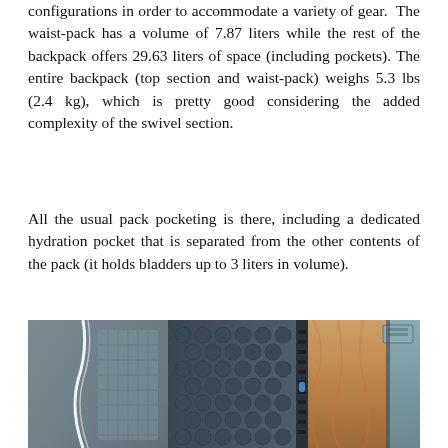configurations in order to accommodate a variety of gear. The waist-pack has a volume of 7.87 liters while the rest of the backpack offers 29.63 liters of space (including pockets). The entire backpack (top section and waist-pack) weighs 5.3 lbs (2.4 kg), which is pretty good considering the added complexity of the swivel section.
All the usual pack pocketing is there, including a dedicated hydration pocket that is separated from the other contents of the pack (it holds bladders up to 3 liters in volume).
[Figure (photo): Close-up photograph of a backpack showing various compartments, straps, and gear including what appears to be a sleeping pad/foam insulation, orange fabric (sleeping bag or jacket), and grey fabric panels with buckles and zippers.]